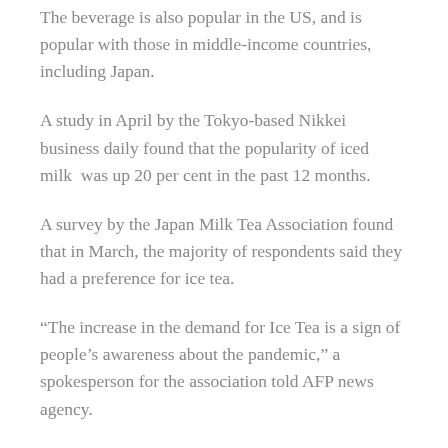The beverage is also popular in the US, and is popular with those in middle-income countries, including Japan.
A study in April by the Tokyo-based Nikkei business daily found that the popularity of iced milk was up 20 per cent in the past 12 months.
A survey by the Japan Milk Tea Association found that in March, the majority of respondents said they had a preference for ice tea.
“The increase in the demand for Ice Tea is a sign of people’s awareness about the pandemic,” a spokesperson for the association told AFP news agency.
Ice tea has been used as a drink in Japan for centuries.